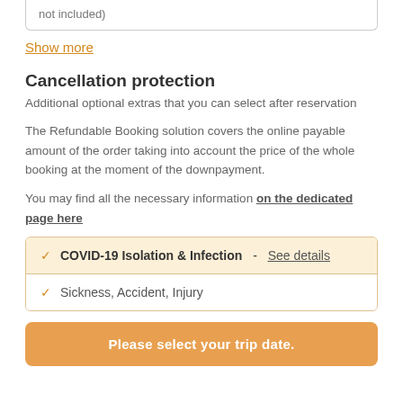not included)
Show more
Cancellation protection
Additional optional extras that you can select after reservation
The Refundable Booking solution covers the online payable amount of the order taking into account the price of the whole booking at the moment of the downpayment.
You may find all the necessary information on the dedicated page here
COVID-19 Isolation & Infection - See details
Sickness, Accident, Injury
Please select your trip date.